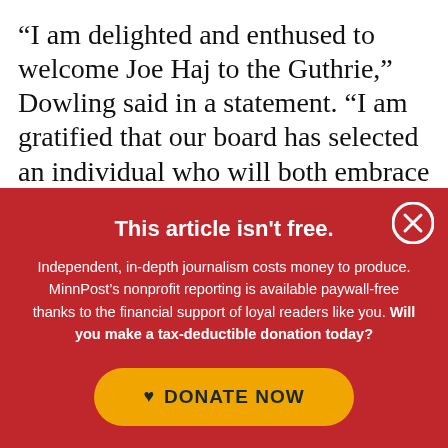“I am delighted and enthused to welcome Joe Haj to the Guthrie,” Dowling said in a statement. “I am gratified that our board has selected an individual who will both embrace and invigorate our theater and community.”
This article isn't free.
Independent, in-depth journalism costs money to produce. MinnPost’s nonprofit reporting is available paywall-free thanks to the financial support of loyal readers like you. Will you make a tax-deductible donation today?
DONATE NOW